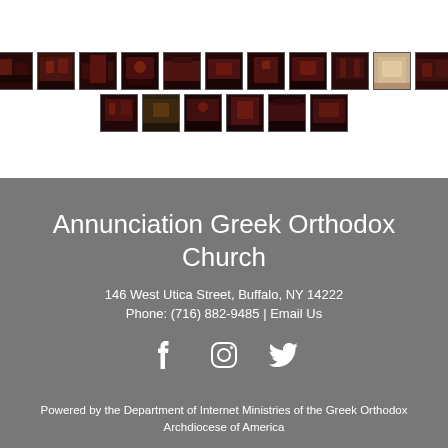[Figure (photo): Two rows of dark thumbnail photos of church interior scenes]
Annunciation Greek Orthodox Church
146 West Utica Street, Buffalo, NY 14222
Phone: (716) 882-9485 | Email Us
[Figure (other): Social media icons: Facebook, Instagram, Twitter]
Powered by the Department of Internet Ministries of the Greek Orthodox Archdiocese of America